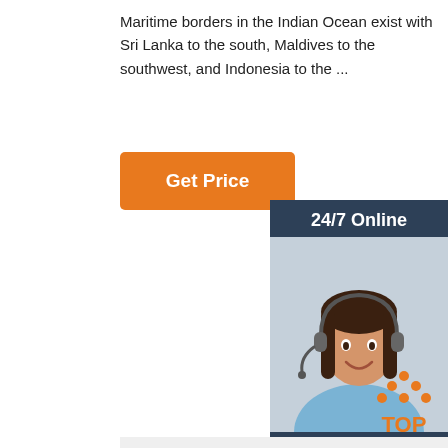Maritime borders in the Indian Ocean exist with Sri Lanka to the south, Maldives to the southwest, and Indonesia to the ...
[Figure (other): Orange 'Get Price' button]
[Figure (other): 24/7 Online customer service agent sidebar with 'Click here for free chat!' text and orange QUOTATION button]
[Figure (photo): Four bucket hats with 'Los Angeles' script embroidery in navy, white, black, and dark red/maroon colors on a light grey background. A 'TOP' icon with orange dots is visible in the bottom right.]